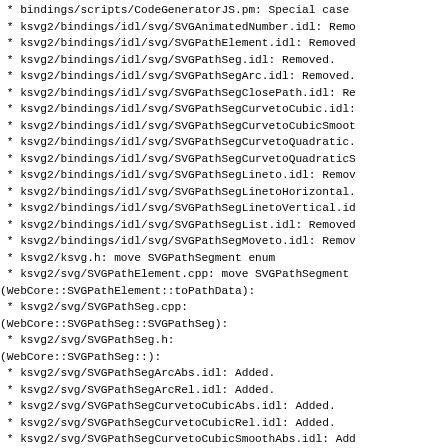* bindings/scripts/CodeGeneratorJS.pm: Special case
* ksvg2/bindings/idl/svg/SVGAnimatedNumber.idl: Remo
* ksvg2/bindings/idl/svg/SVGPathElement.idl: Removed
* ksvg2/bindings/idl/svg/SVGPathSeg.idl: Removed.
* ksvg2/bindings/idl/svg/SVGPathSegArc.idl: Removed.
* ksvg2/bindings/idl/svg/SVGPathSegClosePath.idl: Re
* ksvg2/bindings/idl/svg/SVGPathSegCurvetoCubic.idl:
* ksvg2/bindings/idl/svg/SVGPathSegCurvetoCubicSmoot
* ksvg2/bindings/idl/svg/SVGPathSegCurvetoQuadratic.
* ksvg2/bindings/idl/svg/SVGPathSegCurvetoQuadraticS
* ksvg2/bindings/idl/svg/SVGPathSegLineto.idl: Remov
* ksvg2/bindings/idl/svg/SVGPathSegLinetoHorizontal.
* ksvg2/bindings/idl/svg/SVGPathSegLinetoVertical.id
* ksvg2/bindings/idl/svg/SVGPathSegList.idl: Removed
* ksvg2/bindings/idl/svg/SVGPathSegMoveto.idl: Remov
* ksvg2/ksvg.h: move SVGPathSegment enum
* ksvg2/svg/SVGPathElement.cpp: move SVGPathSegment
(WebCore::SVGPathElement::toPathData):
* ksvg2/svg/SVGPathSeg.cpp:
(WebCore::SVGPathSeg::SVGPathSeg):
* ksvg2/svg/SVGPathSeg.h:
(WebCore::SVGPathSeg::):
* ksvg2/svg/SVGPathSegArcAbs.idl: Added.
* ksvg2/svg/SVGPathSegArcRel.idl: Added.
* ksvg2/svg/SVGPathSegCurvetoCubicAbs.idl: Added.
* ksvg2/svg/SVGPathSegCurvetoCubicRel.idl: Added.
* ksvg2/svg/SVGPathSegCurvetoCubicSmoothAbs.idl: Add
* ksvg2/svg/SVGPathSegCurvetoCubicSmoothRel.idl: Add
* ksvg2/svg/SVGPathSegCurvetoQuadraticAbs.idl: Added
* ksvg2/svg/SVGPathSegCurvetoQuadraticRel.idl: Added
* ksvg2/svg/SVGPathSegCurvetoQuadraticSmoothAbs.idl:
* ksvg2/svg/SVGPathSegCurvetoQuadraticSmoothRel.idl